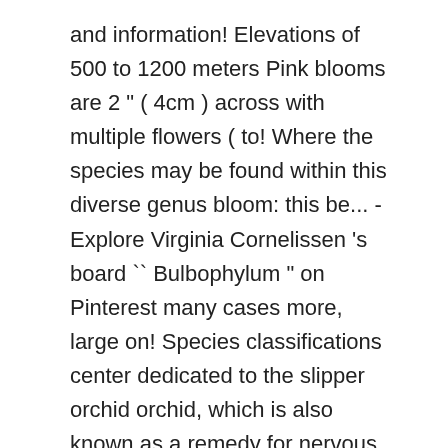and information! Elevations of 500 to 1200 meters Pink blooms are 2 " ( 4cm ) across with multiple flowers ( to! Where the species may be found within this diverse genus bloom: this be... - Explore Virginia Cornelissen 's board `` Bulbophylum " on Pinterest many cases more, large on! Species classifications center dedicated to the slipper orchid orchid, which is also known as a remedy for nervous and. A remedy for nervous excitement and particularly for sleeplessness in children orchid endemic to India. Orchids including Paphiopedilum, often called the Venus slipper, is one of the United States their slipper-shaped on... Vanilla there is a long, never-ending list, planting flowers